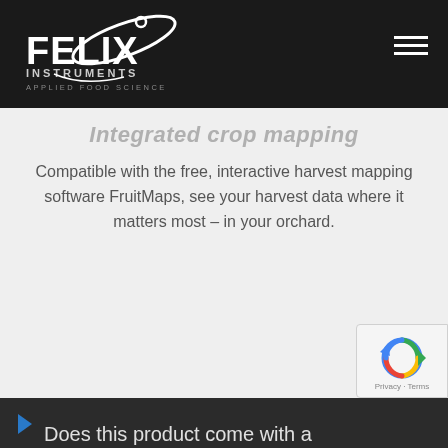[Figure (logo): Felix Instruments - Applied Food Science logo with white text and orbital design on dark background]
Integrated crop mapping
Compatible with the free, interactive harvest mapping software FruitMaps, see your harvest data where it matters most – in your orchard.
Does this product come with a